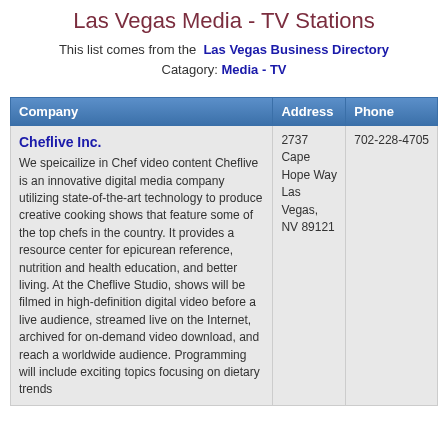Las Vegas Media - TV Stations
This list comes from the Las Vegas Business Directory Catagory: Media - TV
| Company | Address | Phone |
| --- | --- | --- |
| Cheflive Inc.
We speicailize in Chef video content Cheflive is an innovative digital media company utilizing state-of-the-art technology to produce creative cooking shows that feature some of the top chefs in the country. It provides a resource center for epicurean reference, nutrition and health education, and better living. At the Cheflive Studio, shows will be filmed in high-definition digital video before a live audience, streamed live on the Internet, archived for on-demand video download, and reach a worldwide audience. Programming will include exciting topics focusing on dietary trends | 2737 Cape Hope Way
Las Vegas, NV 89121 | 702-228-4705 |